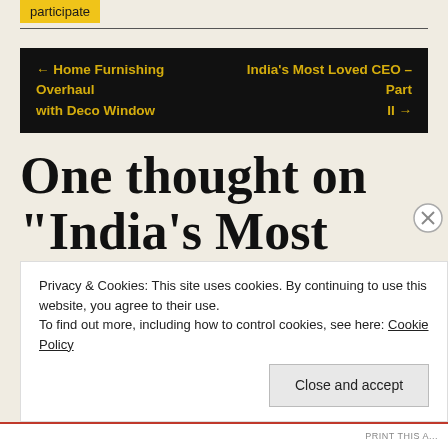participate
← Home Furnishing Overhaul with Deco Window
India's Most Loved CEO – Part II →
One thought on “India’s Most Loved CEO”
Privacy & Cookies: This site uses cookies. By continuing to use this website, you agree to their use.
To find out more, including how to control cookies, see here: Cookie Policy
Close and accept